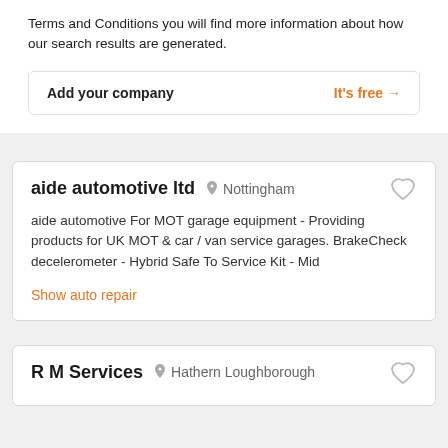Terms and Conditions you will find more information about how our search results are generated.
Add your company   It's free →
aide automotive ltd   Nottingham
aide automotive For MOT garage equipment - Providing products for UK MOT & car / van service garages. BrakeCheck decelerometer - Hybrid Safe To Service Kit - Mid
Show auto repair
R M Services   Hathern Loughborough